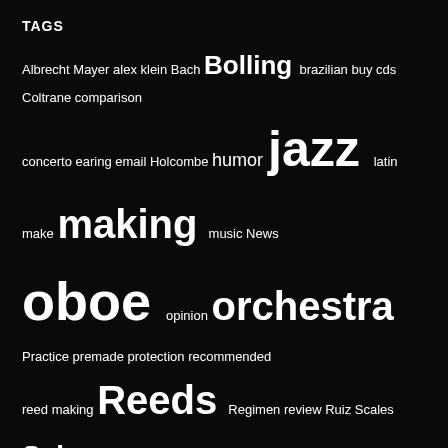TAGS
Albrecht Mayer alex klein Bach Bolling brazilian buy cds Coltrane comparison concerto earing email Holcombe humor jazz latin make making music News oboe opinion orchestra Practice premade protection recommended reed making Reeds Regimen review Ruiz Scales Schumann sheet Sheet Music Solo Spam Suite technique Three Romances too loud torture WSJ Zinn
SITES
Advantage USA
Adventures of Cooper and his oboe, Barbara
Allan Double Reeds
International Double Reed Society